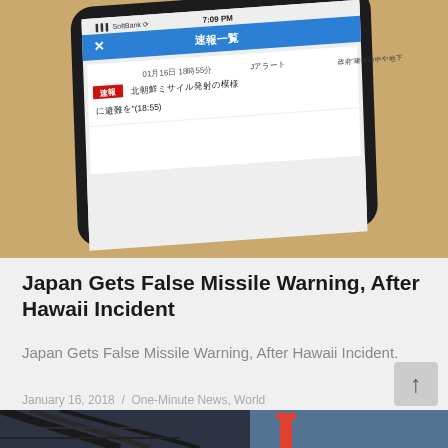[Figure (photo): A smartphone showing a Japanese news alert app (速報一覧 - Breaking News List) with a J-Alert notification about North Korean missile launch, displayed on a wooden surface. The phone shows: time 7:09 PM, SoftBank carrier, and a red 速報 (Breaking News) badge with text about North Korean missile launch dated 01月16日 18時55分.]
Japan Gets False Missile Warning, After Hawaii Incident
Japan Gets False Missile Warning, After Hawaii Incident.
January 16, 2018  /  One-Minute News, World
[Figure (photo): Partial view of a second photo showing what appears to be industrial or construction equipment (crane) under a structure, with blue sky visible.]